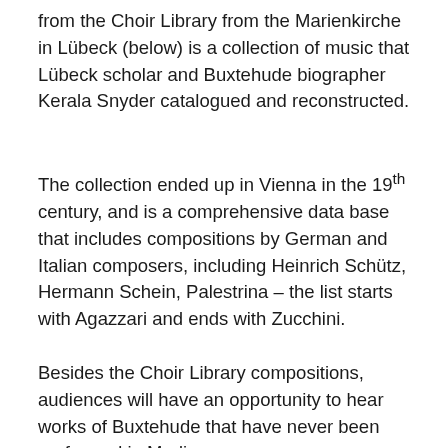from the Choir Library from the Marienkirche in Lübeck (below) is a collection of music that Lübeck scholar and Buxtehude biographer Kerala Snyder catalogued and reconstructed.
The collection ended up in Vienna in the 19th century, and is a comprehensive data base that includes compositions by German and Italian composers, including Heinrich Schütz, Hermann Schein, Palestrina – the list starts with Agazzari and ends with Zucchini.
Besides the Choir Library compositions, audiences will have an opportunity to hear works of Buxtehude that have never been performed in Madison.
[Figure (photo): Photograph of church spires against a blue sky, likely the Marienkirche in Lübeck. Two green/teal pointed spires visible rising above the frame against a deep blue sky.]